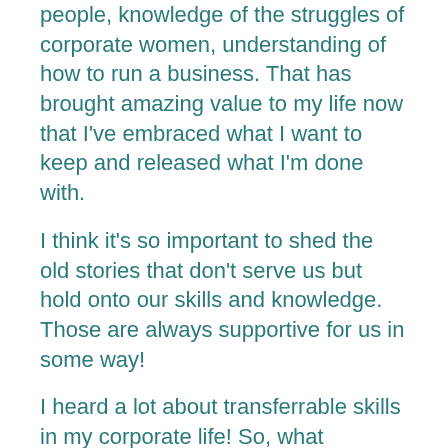people, knowledge of the struggles of corporate women, understanding of how to run a business. That has brought amazing value to my life now that I've embraced what I want to keep and released what I'm done with.
I think it's so important to shed the old stories that don't serve us but hold onto our skills and knowledge. Those are always supportive for us in some way!
I heard a lot about transferrable skills in my corporate life! So, what transferable skills do you bring to your shamanic path?
1.      People skills